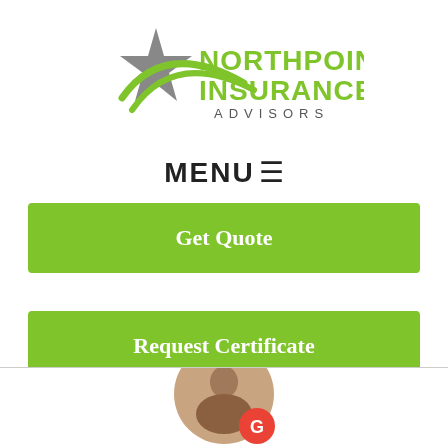[Figure (logo): Northpoint Insurance Advisors logo with gray star and green swoosh, text NORTHPOINT INSURANCE ADVISORS in green and gray]
MENU ≡
Get Quote
Request Certificate
[Figure (photo): Circular cropped photo of a person with a Google G badge overlay in red circle at bottom right]